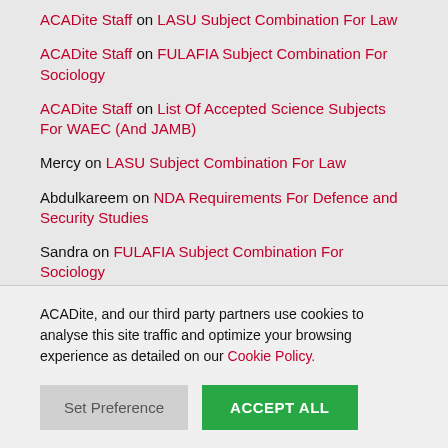ACADite Staff on LASU Subject Combination For Law
ACADite Staff on FULAFIA Subject Combination For Sociology
ACADite Staff on List Of Accepted Science Subjects For WAEC (And JAMB)
Mercy on LASU Subject Combination For Law
Abdulkareem on NDA Requirements For Defence and Security Studies
Sandra on FULAFIA Subject Combination For Sociology
ACADite, and our third party partners use cookies to analyse this site traffic and optimize your browsing experience as detailed on our Cookie Policy.
Set Preference | ACCEPT ALL